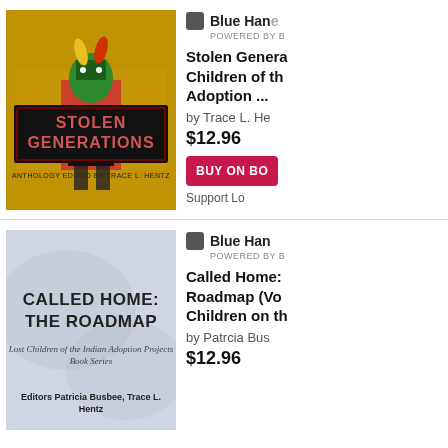[Figure (illustration): Book cover for 'Stolen Generations: Anthology Edited by Trace L. Hentz' showing a Native American dancer in traditional regalia with colorful textured background. Title in pink/red text on black banner.]
Blue Hand
POWERED BY B
Stolen Generations: Children of the Adoption ...
by Trace L. He
$12.96
BUY ON BO
Support Lo
[Figure (illustration): Book cover for 'Called Home: The Roadmap' with subtitle 'Lost Children of the Indian Adoption Projects Book Series'. Editors Patricia Busbee, Trace L. Hentz. Light blue/grey textured background.]
Blue Hand
POWERED BY B
Called Home: The Roadmap (Vo... Children on th...
by Patrcia Bus
$12.96